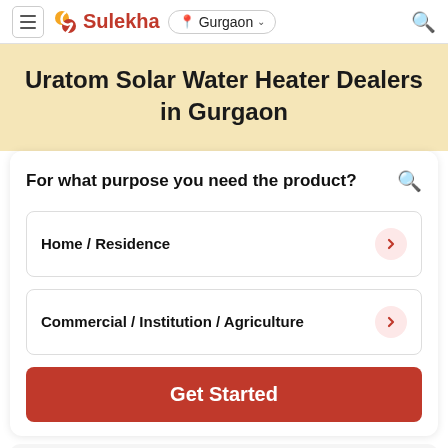Sulekha — Gurgaon
Uratom Solar Water Heater Dealers in Gurgaon
For what purpose you need the product?
Home / Residence
Commercial / Institution / Agriculture
Get Started
How Sulekha works?